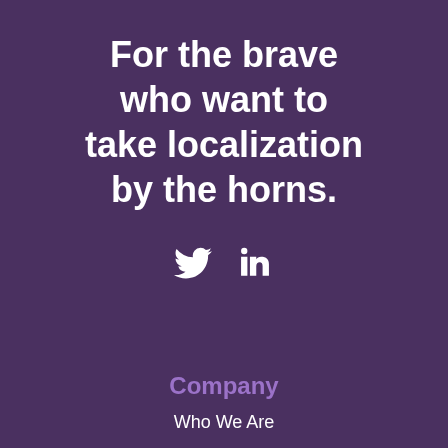For the brave who want to take localization by the horns.
[Figure (illustration): Twitter bird icon and LinkedIn 'in' icon side by side in white on purple background]
Company
Who We Are
In the News
Privacy Policy
Terms of Use
Careers